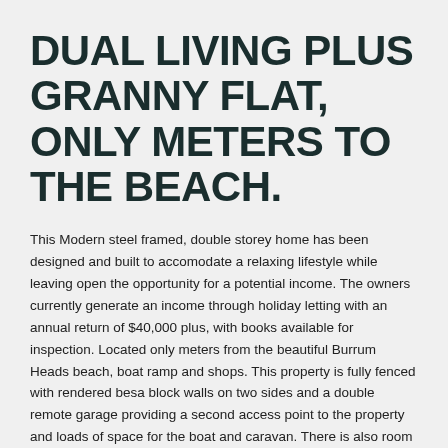DUAL LIVING PLUS GRANNY FLAT, ONLY METERS TO THE BEACH.
This Modern steel framed, double storey home has been designed and built to accomodate a relaxing lifestyle while leaving open the opportunity for a potential income. The owners currently generate an income through holiday letting with an annual return of $40,000 plus, with books available for inspection. Located only meters from the beautiful Burrum Heads beach, boat ramp and shops. This property is fully fenced with rendered besa block walls on two sides and a double remote garage providing a second access point to the property and loads of space for the boat and caravan. There is also room for a pool and only a short 30-minute drive to Hervey Bay CBD.
The owners of this beautiful home have priced it to sell fast – so